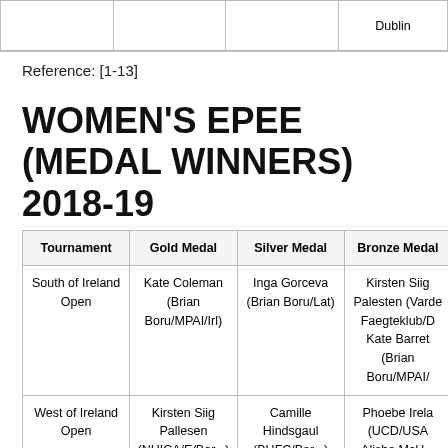| Tournament | Gold Medal | Silver Medal | Bronze Medal |
| --- | --- | --- | --- |
|  |  |  | Dublin |
| South of Ireland Open | Kate Coleman (Brian Boru/MPAI/Irl) | Inga Gorceva (Brian Boru/Lat) | Kirsten Siig Palesten (Varde Faegteklub/D Kate Barrett (Brian Boru/MPAI/ |
| West of Ireland Open | Kirsten Siig Pallesen (NHICA/E/Bor...) | Camille Hindsgaul (BHFC/Bor...) | Phoebe Irela (UCD/USA Alisha McH... |
Reference: [1-13]
WOMEN'S EPEE (MEDAL WINNERS) 2018-19